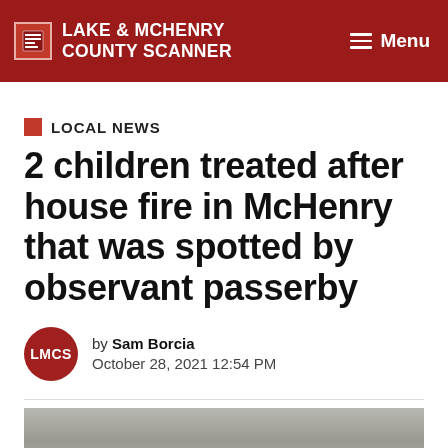LAKE & MCHENRY COUNTY SCANNER | Menu
LOCAL NEWS
2 children treated after house fire in McHenry that was spotted by observant passerby
by Sam Borcia
October 28, 2021 12:54 PM
[Figure (photo): Outdoor scene with bare trees, grey winter landscape]